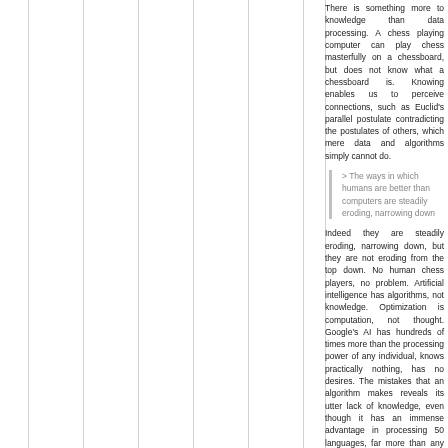There is something more to knowledge than data processing. A chess playing computer can play chess masterfully on a chessboard, but does not know what a chessboard is. Knowing enables us to perceive connections, such as Euclid's parallel postulate contradicting the postulates of others, which mere data and algorithms simply cannot do.
> The ways in which humans are better than computers are steadily eroding, narrowing down
Indeed they are steadily eroding, narrowing down, but they are not eroding from the top down. No human chess players, no problem. Artificial intelligence has algorithms, not knowledge. Optimization is computation, not thought. Google's AI has hundreds of times more than the processing power of any individual, knows practically nothing, has no desires. The mistakes that an algorithm makes reveals its utter lack of knowledge, even though it has an immense advantage in processing 50 languages, far more than any individual ever could know. The difference between data and knowledge is shown in the bloopers its translation program makes. The reason no one can explain the difference is precisely knowledge.